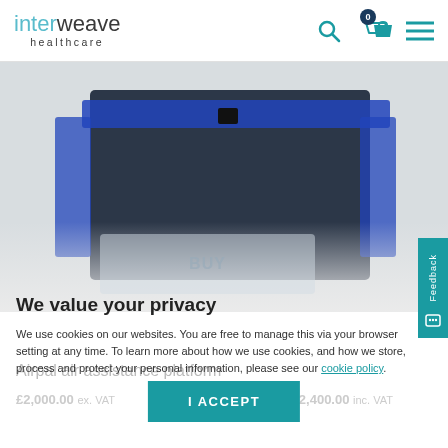interweave healthcare — navigation header with search, cart (0), and menu icons
[Figure (photo): Close-up photo of a dark navy/charcoal air assistance platform mat/cushion with blue straps and buckle hardware on a light grey background]
We value your privacy
We use cookies on our websites. You are free to manage this via your browser setting at any time. To learn more about how we use cookies, and how we store, process and protect your personal information, please see our cookie policy.
Airpal air assistance platform
£2,000.00 ex. VAT
£2,400.00 inc. VAT
I ACCEPT